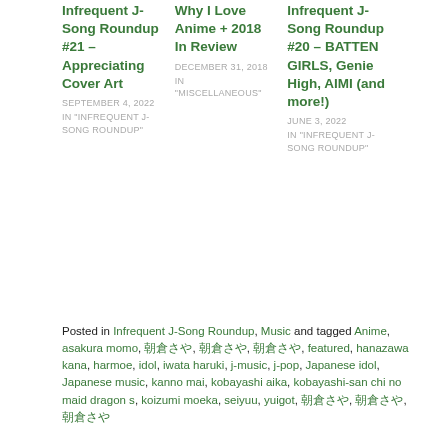Infrequent J-Song Roundup #21 – Appreciating Cover Art
SEPTEMBER 4, 2022
IN "INFREQUENT J-SONG ROUNDUP"
Why I Love Anime + 2018 In Review
DECEMBER 31, 2018
IN "MISCELLANEOUS"
Infrequent J-Song Roundup #20 – BATTEN GIRLS, Genie High, AIMI (and more!)
JUNE 3, 2022
IN "INFREQUENT J-SONG ROUNDUP"
Posted in Infrequent J-Song Roundup, Music and tagged Anime, asakura momo, 朝倉さや, 朝倉さや, 朝倉さや, featured, hanazawa kana, harmoe, idol, iwata haruki, j-music, j-pop, Japanese idol, Japanese music, kanno mai, kobayashi aika, kobayashi-san chi no maid dragon s, koizumi moeka, seiyuu, yuigot, 朝倉さや, 朝倉さや, 朝倉さや